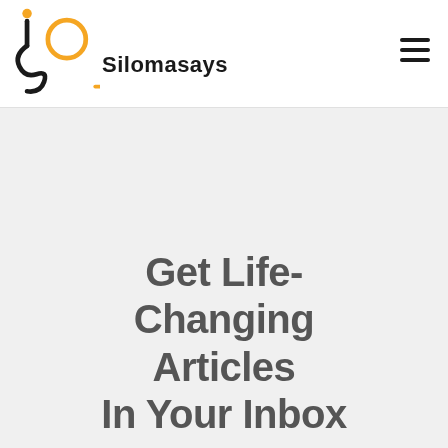[Figure (logo): Silomasays logo with stylized black and orange lettering and the wordmark 'Silomasays' with an orange underline]
Get Life-Changing Articles In Your Inbox